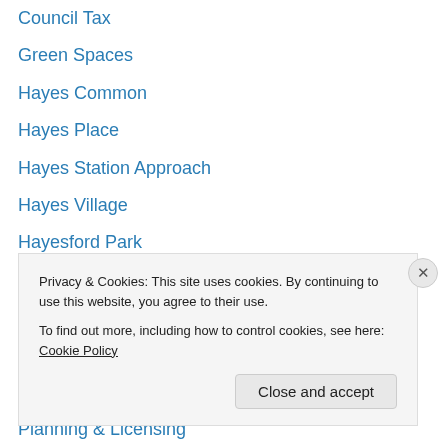Council Tax
Green Spaces
Hayes Common
Hayes Place
Hayes Station Approach
Hayes Village
Hayesford Park
Keston Village
Law & Order
Letchworth Drive
Library
Planning & Licensing
Roads & Traffic
Schools
Privacy & Cookies: This site uses cookies. By continuing to use this website, you agree to their use.
To find out more, including how to control cookies, see here: Cookie Policy